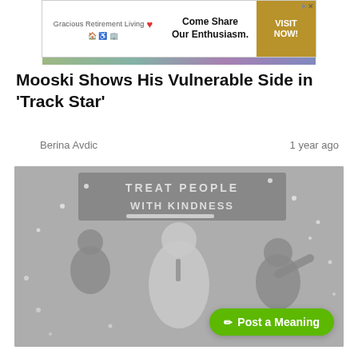[Figure (other): Advertisement banner for Gracious Retirement Living with tagline 'Come Share Our Enthusiasm.' and 'VISIT NOW!' call-to-action button in gold]
Mooski Shows His Vulnerable Side in 'Track Star'
Berina Avdic
1 year ago
[Figure (photo): Black and white concert photo with a performer on stage holding a microphone, background reads 'TREAT PEOPLE WITH KINDNESS' in large letters with stage lights and other performers visible]
✏ Post a Meaning